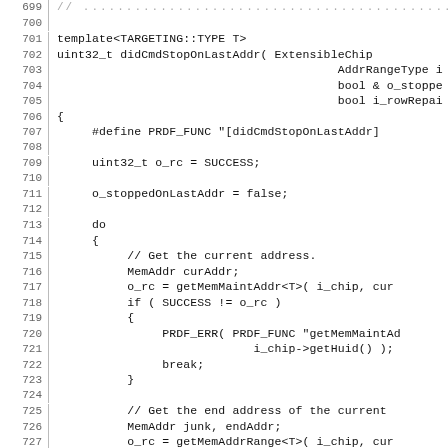[Figure (screenshot): Source code listing in C++ showing lines 699-729 of a function didCmdStopOnLastAddr with line numbers on the left, monospace font, showing template definition, function signature, variable declarations, do-while loop, conditional error handling, and address range retrieval.]